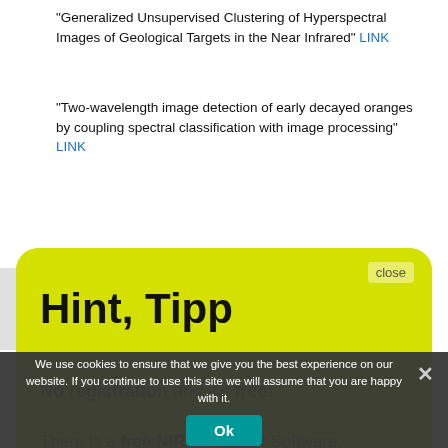“Generalized Unsupervised Clustering of Hyperspectral Images of Geological Targets in the Near Infrared” LINK
“Two-wavelength image detection of early decayed oranges by coupling spectral classification with image processing” LINK
[Figure (screenshot): Yellow popup with heading 'Hint, Tipp', text 'No registration and it’s free!' and 'There is a free NIR-Predictor Software.' with '>>> Show me <<<' link. Has a 'close' button top right.]
“Nondestructive detection of tomato quality based on multiregion combination model” LINK
We use cookies to ensure that we give you the best experience on our website. If you continue to use this site we will assume that you are happy with it.
Ok